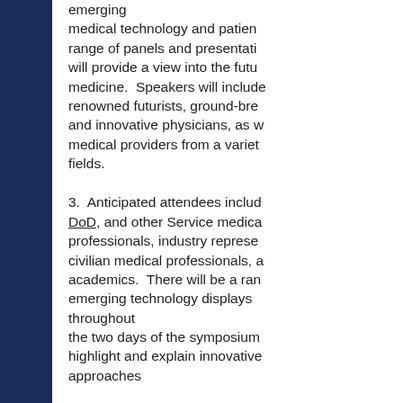emerging medical technology and patient range of panels and presentations will provide a view into the future of medicine. Speakers will include renowned futurists, ground-breaking and innovative physicians, as well as medical providers from a variety of fields.
3.  Anticipated attendees include DoD, and other Service medical professionals, industry representatives, civilian medical professionals, and academics. There will be a range of emerging technology displays throughout the two days of the symposium to highlight and explain innovative approaches to medicine to those at